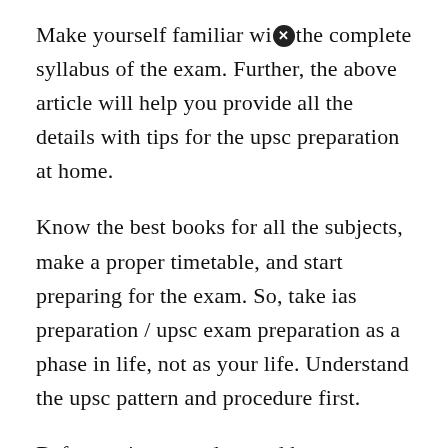Make yourself familiar with the complete syllabus of the exam. Further, the above article will help you provide all the details with tips for the upsc preparation at home.
Know the best books for all the subjects, make a proper timetable, and start preparing for the exam. So, take ias preparation / upsc exam preparation as a phase in life, not as your life. Understand the upsc pattern and procedure first.
Before trying to understand how to start preparing for upsc at home, you should prepare yourself for the journey. You can take help of upsc notes pdf for your preparation. To know the syllabus you can take help from any of your friends who have given